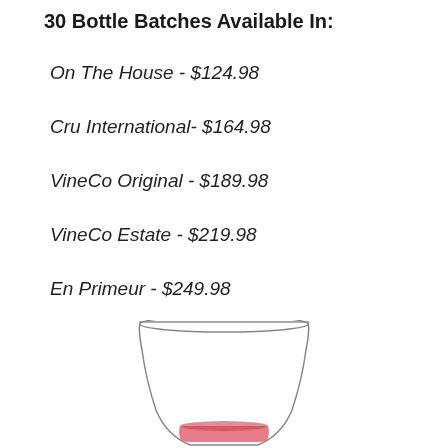30 Bottle Batches Available In:
On The House - $124.98
Cru International- $164.98
VineCo Original - $189.98
VineCo Estate - $219.98
En Primeur - $249.98
[Figure (illustration): A stemless wine glass with a small amount of red wine at the bottom, shown partially cropped at the bottom of the page.]